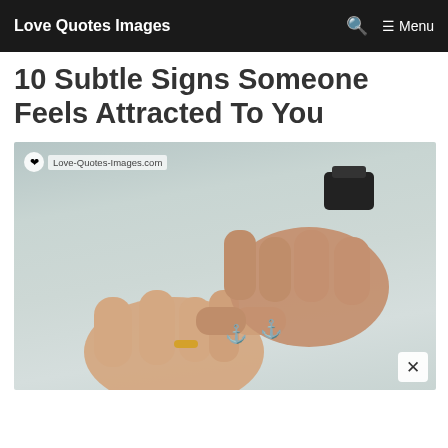Love Quotes Images  🔍  ≡ Menu
10 Subtle Signs Someone Feels Attracted To You
[Figure (photo): Two hands with pinky fingers linked together, both with matching anchor tattoos on their index fingers. One hand wears a gold ring and the other wears a black watch. Watermark reads 'Love-Quotes-Images.com'.]